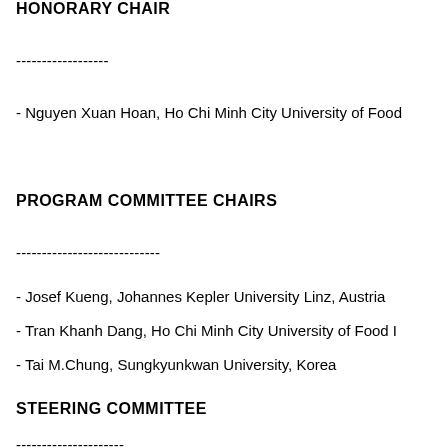HONORARY CHAIR
------------------
- Nguyen Xuan Hoan, Ho Chi Minh City University of Food
PROGRAM COMMITTEE CHAIRS
----------------------------
- Josef Kueng, Johannes Kepler University Linz, Austria
- Tran Khanh Dang, Ho Chi Minh City University of Food I
- Tai M.Chung, Sungkyunkwan University, Korea
STEERING COMMITTEE
---------------------